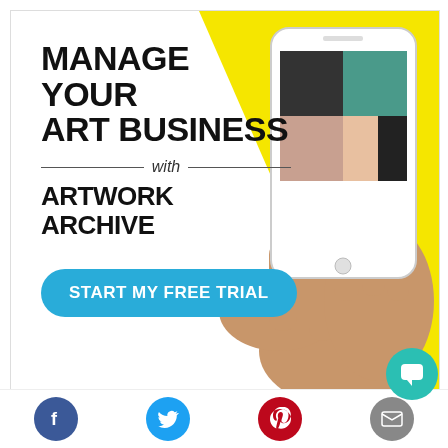[Figure (illustration): Advertisement for Artwork Archive showing a hand holding a smartphone with art management app, yellow triangle background, white card with text and CTA button]
MANAGE YOUR ART BUSINESS
with
ARTWORK ARCHIVE
START MY FREE TRIAL
[Figure (illustration): Social media icons row at bottom: Facebook, Twitter, Pinterest, Email, plus teal chat bubble icon]